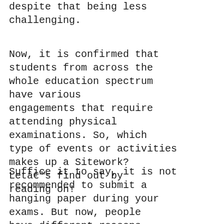despite that being less challenging.
Now, it is confirmed that students from across the whole education spectrum have various engagements that require attending physical examinations. So, which type of events or activities makes up a Sitework? Letâs find out by reading on!
Suffice it to say, it is not recommended to submit a hanging paper during your exams. But now, people have different reasons why they prefer to do the lying sit-on-the-